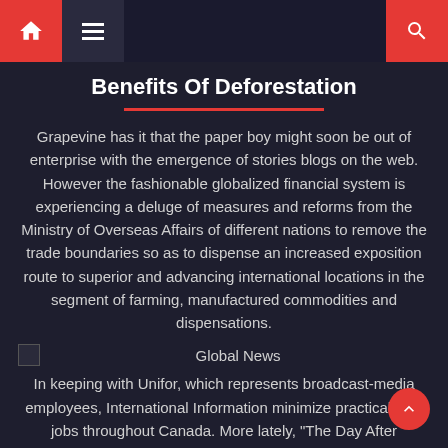Navigation bar with home, menu, and search icons
Benefits Of Deforestation
Grapevine has it that the paper boy might soon be out of enterprise with the emergence of stories blogs on the web. However the fashionable globalized financial system is experiencing a deluge of measures and reforms from the Ministry of Overseas Affairs of different nations to remove the trade boundaries so as to dispense an increased exposition route to superior and advancing international locations in the segment of farming, manufactured commodities and dispensations.
Global News
In keeping with Unifor, which represents broadcast-media employees, International Information minimize practically 70 jobs throughout Canada. More lately, “The Day After Tomorrow (2004)” predicted massive climate change due